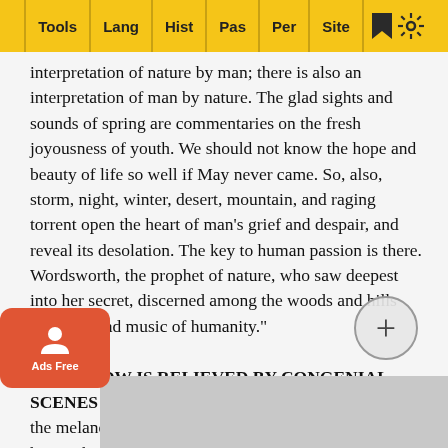Tools | Lang | Hist | Pas | Per | Site
interpretation of nature by man; there is also an interpretation of man by nature. The glad sights and sounds of spring are commentaries on the fresh joyousness of youth. We should not know the hope and beauty of life so well if May never came. So, also, storm, night, winter, desert, mountain, and raging torrent open the heart of man's grief and despair, and reveal its desolation. The key to human passion is there. Wordsworth, the prophet of nature, who saw deepest into her secret, discerned among the woods and hills "the still, sad music of humanity."
II. SORROW IS RELIEVED BY CONGENIAL SCENES OF NATURE.
The mourning exiles will note the melancholy tones of the doves of the valley. To the happy these sounds come as a touching variation from the generally pleasant aspect of nature; but to the sorrowful fugitives among the mountains they come as the comforter. It is well to cultivate a feeling for nature, for there are called